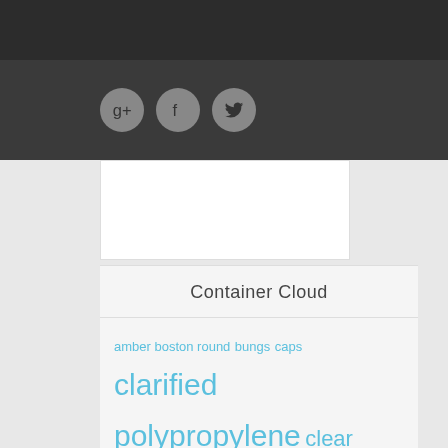[Figure (screenshot): Dark header bar at top of page]
[Figure (screenshot): Social share buttons bar with Google+, Facebook, and Twitter circular icons on dark background]
[Figure (screenshot): White advertisement or content placeholder box]
Container Cloud
amber boston round bungs caps clarified polypropylene clear polystyrene drum drums essential oils fiber fiber drums fibre food grade glass glass bottles glass jars graduation marks HDPE high density polyethylene injection molded jars lever locking ring metal caps natural paint cans